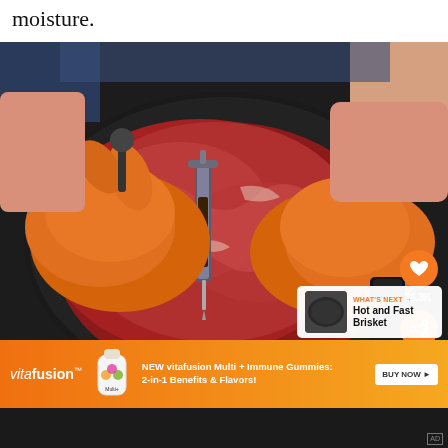moisture.
[Figure (photo): Person wearing orange gloves injecting marinade into a raw beef brisket on a dark cutting board using a meat injector/syringe. A heart/like button showing 26.3K and a share button are overlaid on the right side. A 'What's Next: Hot and Fast Brisket' panel appears in the bottom right.]
[Figure (infographic): Vitafusion advertisement banner with orange background. Text reads 'NEW vitafusion Multi + Immune Gummies: 2-in-1 Benefits & Flavors!' with a BUY NOW button.]